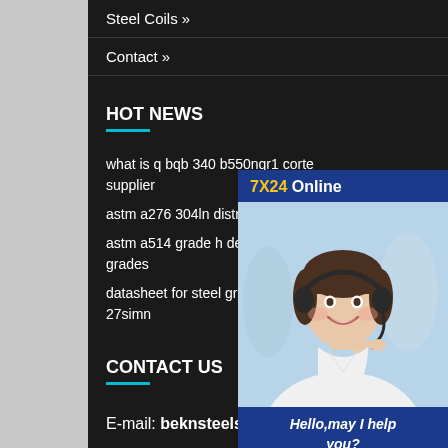Steel Coils »
Contact »
HOT NEWS
what is q bqb 340 b550nqr1 corte supplier
astm a276 304ln distributor
astm a514 grade h dealerastm a5 grades
datasheet for steel grades structu 27simn
CONTACT US
E-mail: beknsteels@163.com
[Figure (photo): Customer service representative with headset, chat widget with 7X24 Online label, Hello may I help you text, and Get Latest Price button]